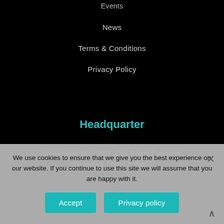Events
News
Terms & Conditions
Privacy Policy
Headquarter
Universiteler Mah. 1606. Cad. Bilkent Cyberpark
368 Ankara, 06800 TURKEY
We use cookies to ensure that we give you the best experience on our website. If you continue to use this site we will assume that you are happy with it.